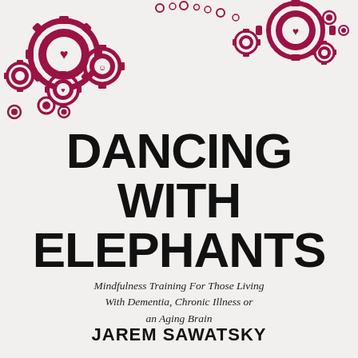[Figure (illustration): Decorative crimson/dark red gear and circle icons cluster in upper-left and upper-right corners, containing various symbols (hearts, animals, people, etc.) arranged in an interlocking gear pattern]
DANCING WITH ELEPHANTS
Mindfulness Training For Those Living With Dementia, Chronic Illness or an Aging Brain
JAREM SAWATSKY